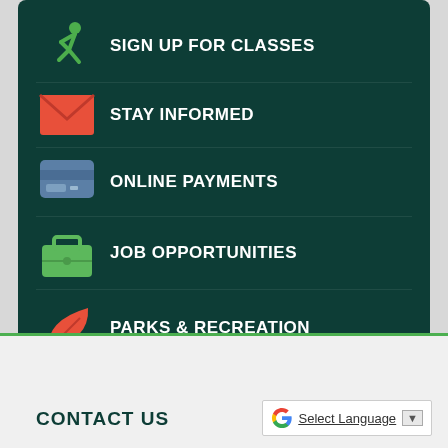SIGN UP FOR CLASSES
STAY INFORMED
ONLINE PAYMENTS
JOB OPPORTUNITIES
PARKS & RECREATION
POLICE DEPARTMENT
CONTACT US
[Figure (logo): Google Translate widget with G logo, Select Language text, and dropdown arrow]